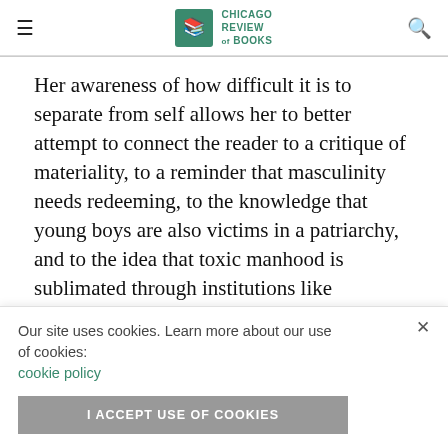Chicago Review of Books
Her awareness of how difficult it is to separate from self allows her to better attempt to connect the reader to a critique of materiality, to a reminder that masculinity needs redeeming, to the knowledge that young boys are also victims in a patriarchy, and to the idea that toxic manhood is sublimated through institutions like marriage, church, and school. Overall, the work is committed to making stories personal, and [partially obscured] el provide [partially obscured] like more
Our site uses cookies. Learn more about our use of cookies: cookie policy
I ACCEPT USE OF COOKIES